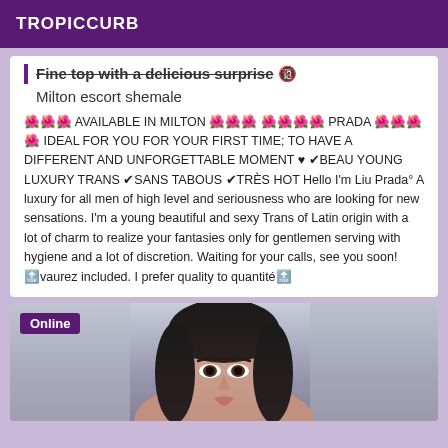TROPICCURB
Fine top with a delicious surprise 🔞
Milton escort shemale
🌺🌺🌺 AVAILABLE IN MILTON 🌺🌺🌺 🌺🌺🌺🌺 PRADA 🌺🌺🌺🌺 IDEAL FOR YOU FOR YOUR FIRST TIME; TO HAVE A DIFFERENT AND UNFORGETTABLE MOMENT ♥ ✔BEAU YOUNG LUXURY TRANS ✔SANS TABOUS ✔TRÈS HOT Hello I'm Liu Prada° A luxury for all men of high level and seriousness who are looking for new sensations. I'm a young beautiful and sexy Trans of Latin origin with a lot of charm to realize your fantasies only for gentlemen serving with hygiene and a lot of discretion. Waiting for your calls, see you soon! 🔝vaurez included. I prefer quality to quantité🔝
[Figure (photo): Photo of a woman with dark hair, partial face visible, indoor background]
Online